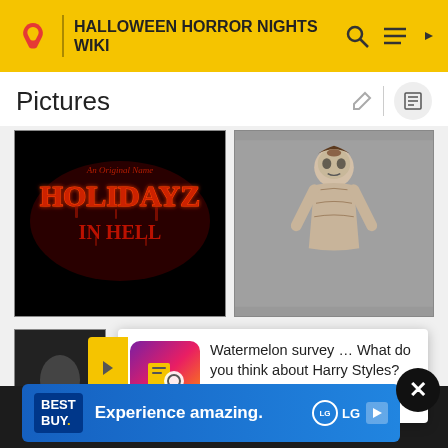HALLOWEEN HORROR NIGHTS WIKI
Pictures
[Figure (photo): Holidayz in Hell promotional title card with red text on black background]
[Figure (photo): Skeleton/ghoul character figure in costume on grey background]
[Figure (screenshot): Watermelon survey advertisement popup: 'Watermelon survey … What do you think about Harry Styles? TAKE THE SURVEY HERE']
[Figure (photo): Best Buy + LG advertisement banner: 'Experience amazing.']